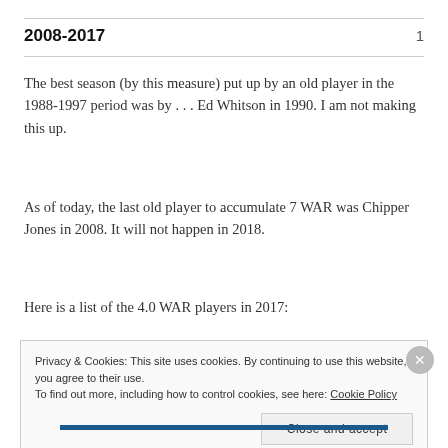2008-2017
The best season (by this measure) put up by an old player in the 1988-1997 period was by . . . Ed Whitson in 1990. I am not making this up.
As of today, the last old player to accumulate 7 WAR was Chipper Jones in 2008. It will not happen in 2018.
Here is a list of the 4.0 WAR players in 2017:
Privacy & Cookies: This site uses cookies. By continuing to use this website, you agree to their use. To find out more, including how to control cookies, see here: Cookie Policy